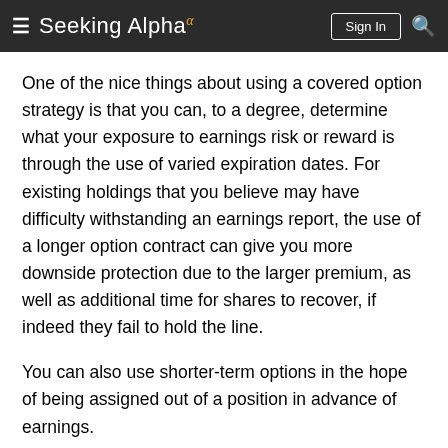Seeking Alpha
One of the nice things about using a covered option strategy is that you can, to a degree, determine what your exposure to earnings risk or reward is through the use of varied expiration dates. For existing holdings that you believe may have difficulty withstanding an earnings report, the use of a longer option contract can give you more downside protection due to the larger premium, as well as additional time for shares to recover, if indeed they fail to hold the line.
You can also use shorter-term options in the hope of being assigned out of a position in advance of earnings.